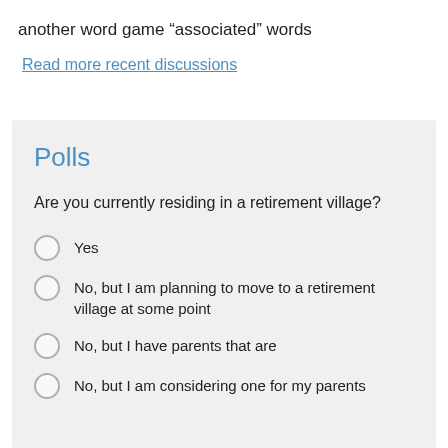another word game “associated” words
Read more recent discussions
Polls
Are you currently residing in a retirement village?
Yes
No, but I am planning to move to a retirement village at some point
No, but I have parents that are
No, but I am considering one for my parents